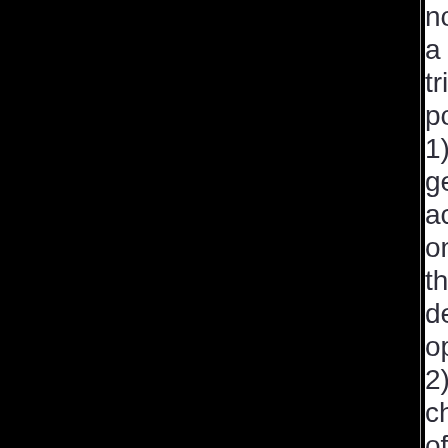notified a triple possibility: 1) genetic acknowledgement on the death option; 2) changing of an initial program which only included the involvement of the English